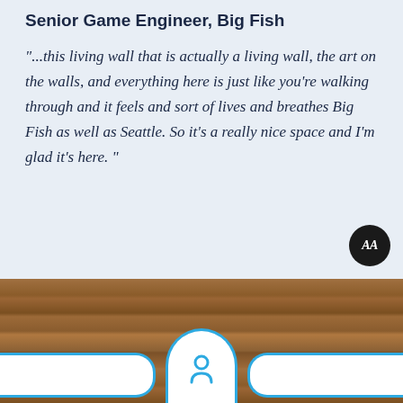Senior Game Engineer, Big Fish
"...this living wall that is actually a living wall, the art on the walls, and everything here is just like you're walking through and it feels and sort of lives and breathes Big Fish as well as Seattle. So it's a really nice space and I'm glad it's here."
[Figure (photo): Wood texture background with Glassdoor logo overlay — white rounded bar and circular logo badge with cloud/figure icon in blue]